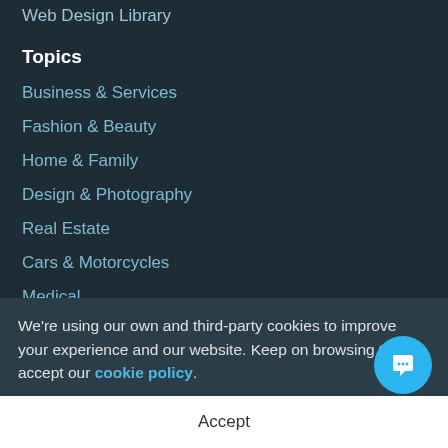Web Design Library
Topics
Business & Services
Fashion & Beauty
Home & Family
Design & Photography
Real Estate
Cars & Motorcycles
Medical
Sports, Outdoors & Travel
Food & Restaurant
Elec...
Con...
Abo...
Licenses
We're using our own and third-party cookies to improve your experience and our website. Keep on browsing to accept our cookie policy.
Accept